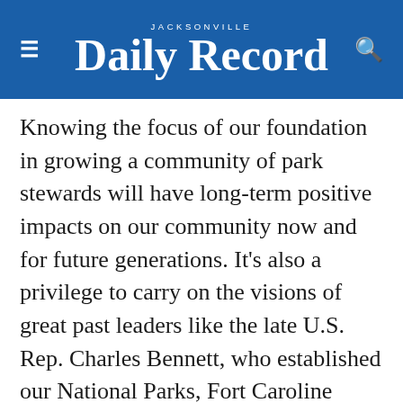JACKSONVILLE Daily Record
Knowing the focus of our foundation in growing a community of park stewards will have long-term positive impacts on our community now and for future generations. It's also a privilege to carry on the visions of great past leaders like the late U.S. Rep. Charles Bennett, who established our National Parks, Fort Caroline National Memorial and the Timucuan Ecological & Historic Preserve, and former Mayor John Delaney, whose vision was to create the biggest and best park system in the country. We have the biggest urban park system in the U.S. — now we're working to make it the best.